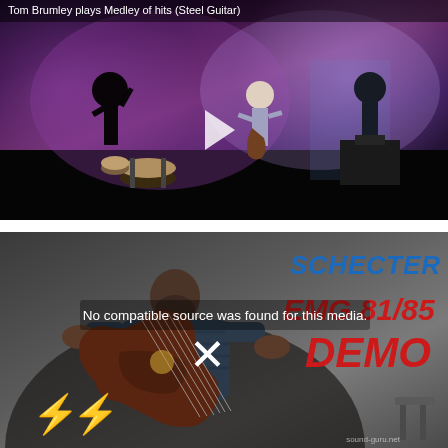[Figure (screenshot): Video thumbnail/player showing Tom Brumley playing a medley of hits on steel guitar. Dark stage scene with purple/pink lighting, band silhouettes, and a play button in the center. Title text reads: Tom Brumley plays Medley of hits (Steel Guitar)]
[Figure (screenshot): Video player with error message 'No compatible source was found for this media.' overlaid. Background shows a man playing a dark electric guitar with SCHECTER EMG 81/85 DEMO text on the right side in blue and red. Yellow lightning bolt icons at bottom left. An X close button visible.]